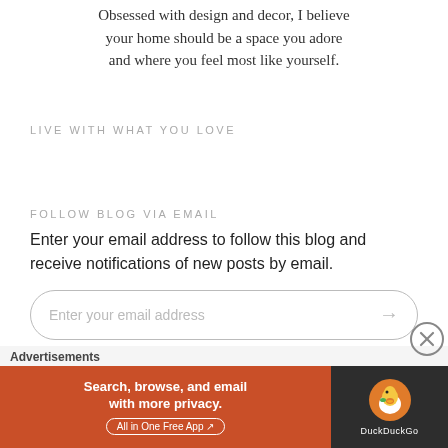Obsessed with design and decor, I believe your home should be a space you adore and where you feel most like yourself.
LIVE WITH WHAT YOU LOVE
FOLLOW BLOG VIA EMAIL
Enter your email address to follow this blog and receive notifications of new posts by email.
[Figure (other): Email input field with placeholder text 'Enter your email address' and a right arrow button, styled with rounded border]
[Figure (other): DuckDuckGo advertisement banner: left side orange with text 'Search, browse, and email with more privacy. All in One Free App', right side dark with DuckDuckGo logo and name]
Advertisements